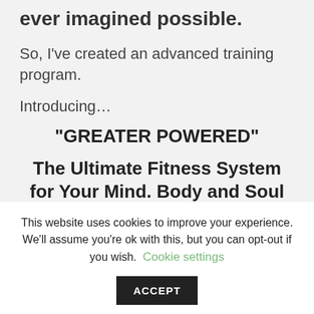ever imagined possible.
So, I've created an advanced training program.
Introducing…
“GREATER POWERED”
The Ultimate Fitness System for Your Mind. Body and Soul
This website uses cookies to improve your experience. We'll assume you're ok with this, but you can opt-out if you wish. Cookie settings ACCEPT